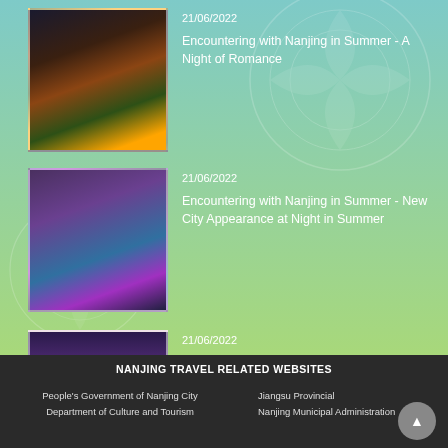[Figure (photo): Night scene of Nanjing historic waterfront buildings illuminated with lights]
21/06/2022
Encountering with Nanjing in Summer - A Night of Romance
[Figure (photo): Aerial night view of Nanjing city skyline with purple and blue lights]
21/06/2022
Encountering with Nanjing in Summer - New City Appearance at Night in Summer
[Figure (photo): Dusky sky view of Nanjing at night with pink and purple hues]
21/06/2022
Encountering with Nanjing in Summer - Secrets of Starry Sky and Fireflies at Night in Summer
NANJING TRAVEL RELATED WEBSITES
People's Government of Nanjing City
Department of Culture and Tourism
Jiangsu Provincial
Nanjing Municipal Administration